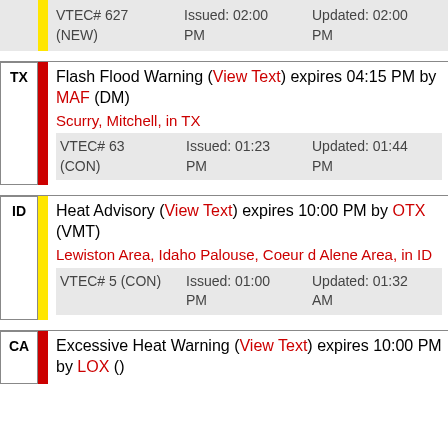VTEC# 627 (NEW) | Issued: 02:00 PM | Updated: 02:00 PM
TX | Flash Flood Warning (View Text) expires 04:15 PM by MAF (DM) | Scurry, Mitchell, in TX | VTEC# 63 (CON) | Issued: 01:23 PM | Updated: 01:44 PM
ID | Heat Advisory (View Text) expires 10:00 PM by OTX (VMT) | Lewiston Area, Idaho Palouse, Coeur d Alene Area, in ID | VTEC# 5 (CON) | Issued: 01:00 PM | Updated: 01:32 AM
CA | Excessive Heat Warning (View Text) expires 10:00 PM by LOX ()